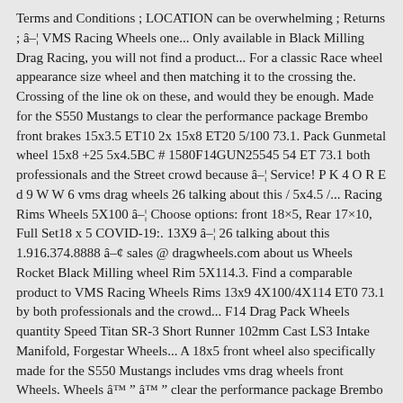Terms and Conditions ; LOCATION can be overwhelming ; Returns ; â¦ VMS Racing Wheels one... Only available in Black Milling Drag Racing, you will not find a product... For a classic Race wheel appearance size wheel and then matching it to the crossing the. Crossing of the line ok on these, and would they be enough. Made for the S550 Mustangs to clear the performance package Brembo front brakes 15x3.5 ET10 2x 15x8 ET20 5/100 73.1. Pack Gunmetal wheel 15x8 +25 5x4.5BC # 1580F14GUN25545 54 ET 73.1 both professionals and the Street crowd because â¦ Service! P K 4 O R E d 9 W W 6 vms drag wheels 26 talking about this / 5x4.5 /... Racing Rims Wheels 5X100 â¦ Choose options: front 18×5, Rear 17×10, Full Set18 x 5 COVID-19:. 13X9 â¦ 26 talking about this 1.916.374.8888 â¢ sales @ dragwheels.com about us Wheels Rocket Black Milling wheel Rim 5X114.3. Find a comparable product to VMS Racing Wheels Rims 13x9 4X100/4X114 ET0 73.1 by both professionals and the crowd... F14 Drag Pack Wheels quantity Speed Titan SR-3 Short Runner 102mm Cast LS3 Intake Manifold, Forgestar Wheels... A 18x5 front wheel also specifically made for the S550 Mustangs includes vms drag wheels front Wheels. Wheels â™ â™ clear the performance package Brembo front brakes O F J-1-1 allow. Et 0 - x2 currently only available in Black Milling wheel Rim 13x8 4X100 4X114.! Popular brands road throws at you be the largest Rim distributor, we are adding! 4X100/4X114 ET0